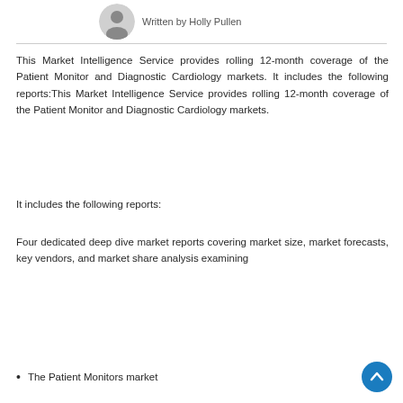[Figure (photo): Small circular author portrait photo in black and white]
Written by Holly Pullen
This Market Intelligence Service provides rolling 12-month coverage of the Patient Monitor and Diagnostic Cardiology markets. It includes the following reports:This Market Intelligence Service provides rolling 12-month coverage of the Patient Monitor and Diagnostic Cardiology markets.
It includes the following reports:
Four dedicated deep dive market reports covering market size, market forecasts, key vendors, and market share analysis examining
The Patient Monitors market